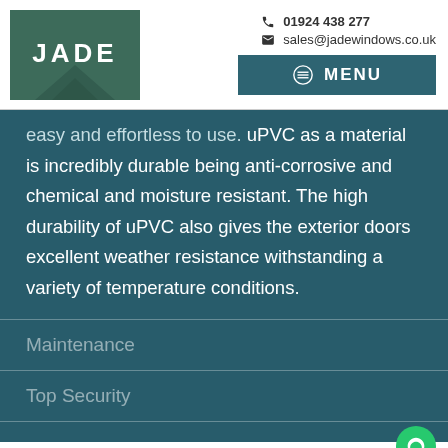[Figure (logo): JADE Windows logo - green square with JADE text and chevron shape]
01924 438 277
sales@jadewindows.co.uk
MENU
easy and effortless to use. uPVC as a material is incredibly durable being anti-corrosive and chemical and moisture resistant. The high durability of uPVC also gives the exterior doors excellent weather resistance withstanding a variety of temperature conditions.
Maintenance
Top Security